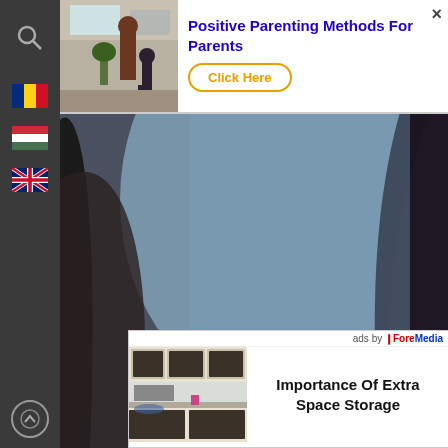[Figure (screenshot): Screenshot of a webpage with sidebar navigation showing search icon and country flags (Romania, Hungary, UK), a blurred dark background photo, a top ad overlay for 'Positive Parenting Methods For Parents' with Click Here button, and a bottom ad for 'Importance Of Extra Space Storage' by ForeMedia.]
Positive Parenting Methods For Parents
Click Here
ads by ForeMedia
Importance Of Extra Space Storage